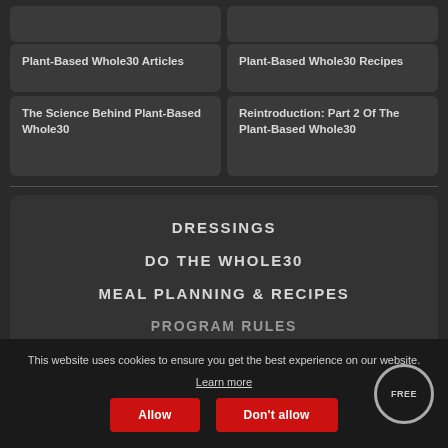Plant-Based Whole30 Articles
Plant-Based Whole30 Recipes
The Science Behind Plant-Based Whole30
Reintroduction: Part 2 Of The Plant-Based Whole30
DRESSINGS
DO THE WHOLE30
MEAL PLANNING & RECIPES
PROGRAM RULES
This website uses cookies to ensure you get the best experience on our website.
Learn more
Allow
Don't allow